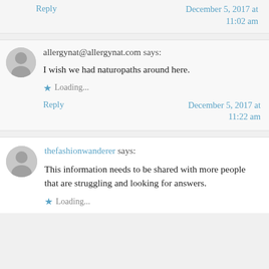Reply | December 5, 2017 at 11:02 am
allergynat@allergynat.com says: I wish we had naturopaths around here. Loading... Reply | December 5, 2017 at 11:22 am
thefashionwanderer says: This information needs to be shared with more people that are struggling and looking for answers. Loading...